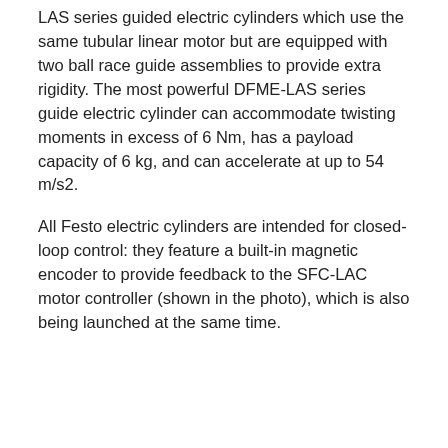LAS series guided electric cylinders which use the same tubular linear motor but are equipped with two ball race guide assemblies to provide extra rigidity. The most powerful DFME-LAS series guide electric cylinder can accommodate twisting moments in excess of 6 Nm, has a payload capacity of 6 kg, and can accelerate at up to 54 m/s2.
All Festo electric cylinders are intended for closed-loop control: they feature a built-in magnetic encoder to provide feedback to the SFC-LAC motor controller (shown in the photo), which is also being launched at the same time.
Contact Details and Archive...
Festo
Related Articles...
Adding dynamism to robotic drives
Energy-efficient synchronous motors